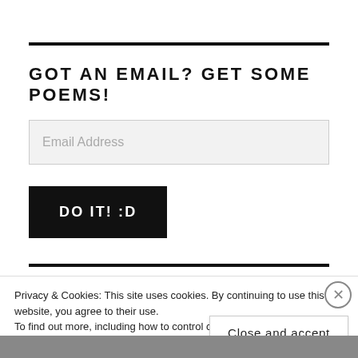GOT AN EMAIL? GET SOME POEMS!
Email Address
DO IT! :D
Privacy & Cookies: This site uses cookies. By continuing to use this website, you agree to their use.
To find out more, including how to control cookies, see here: Cookie Policy
Close and accept